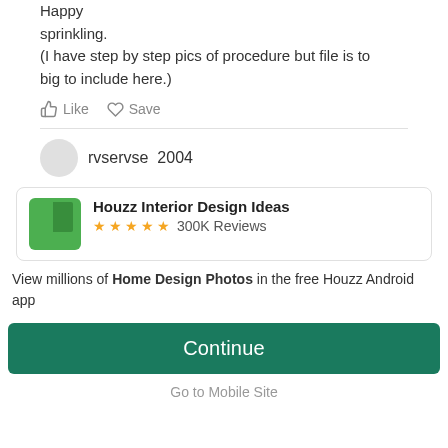Happy sprinkling.
(I have step by step pics of procedure but file is to big to include here.)
Like  Save
rvservse  2004
Houzz Interior Design Ideas ★★★★★ 300K Reviews
View millions of Home Design Photos in the free Houzz Android app
Continue
Go to Mobile Site